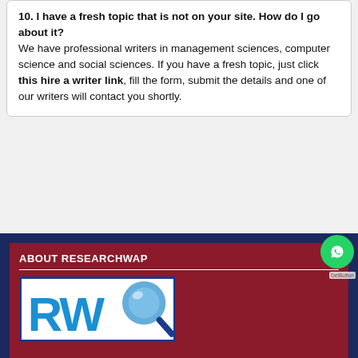10. I have a fresh topic that is not on your site. How do I go about it? We have professional writers in management sciences, computer science and social sciences. If you have a fresh topic, just click this hire a writer link, fill the form, submit the details and one of our writers will contact you shortly.
ABOUT RESEARCHWAP
[Figure (logo): ResearchWap logo with blue RW letters and a magnifying glass icon with blue circle]